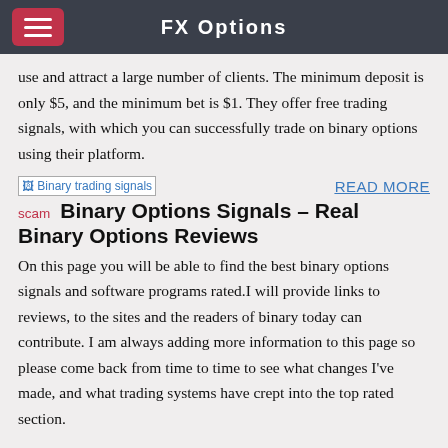FX Options
use and attract a large number of clients. The minimum deposit is only $5, and the minimum bet is $1. They offer free trading signals, with which you can successfully trade on binary options using their platform.
[Figure (other): Broken image placeholder labeled 'Binary trading signals scam']
READ MORE
Binary Options Signals – Real Binary Options Reviews
On this page you will be able to find the best binary options signals and software programs rated.I will provide links to reviews, to the sites and the readers of binary today can contribute. I am always adding more information to this page so please come back from time to time to see what changes I've made, and what trading systems have crept into the top rated section.